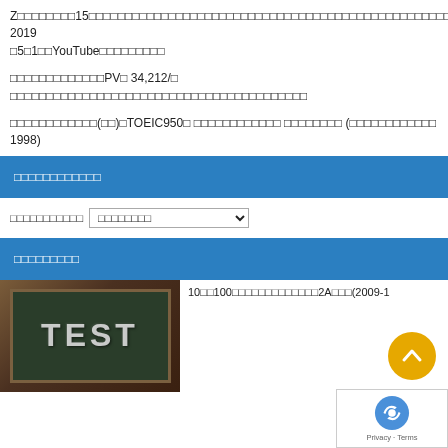Z□□□□□□□□15□□□□□□□□□□□□□□□□□□□□□□□□□□□□□□□□□□□□□□□□□□□□□□□□□□□ 2019□5□1□□YouTube□□□□□□□□□
□□□□□□□□□□□□□PV□ 34,212/□ □□□□□□□□□□□□□□□□□□□□□□□□□□□□□□□□□□□□□□□□□
□□□□□□□□□□□□(□□)□TOEIC950□ □□□□□□□□□□□□ □□□□□□□□ (□□□□□□□□□□□□ 1998)
□□□□□□□□□□□□
□□□□□□□□□□□ □□□□□□□□
□□□□□□□□□
[Figure (photo): Chalkboard with TEST written in chalk letters]
10□□100□□□□□□□□□□□□□2A□□□(2009-1